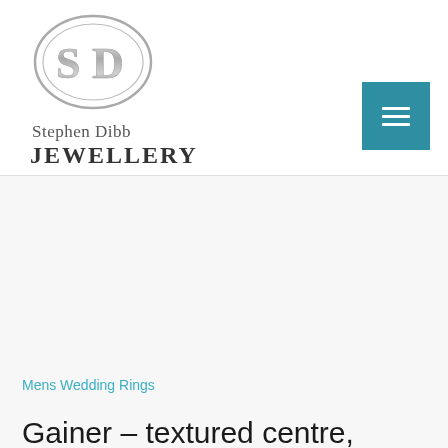[Figure (logo): Stephen Dibb Jewellery logo — oval silver SD monogram above the text 'Stephen Dibb' in serif and 'JEWELLERY' in bold serif capitals]
[Figure (other): Teal/dark-cyan square menu button with three horizontal white lines (hamburger icon)]
Mens Wedding Rings
Gainer – textured centre, polished edges on a domed gent's wedding ring custom made in Brisbane Australia